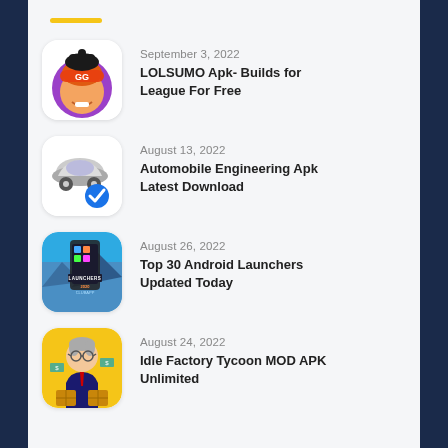September 3, 2022 — LOLSUMO Apk- Builds for League For Free
August 13, 2022 — Automobile Engineering Apk Latest Download
August 26, 2022 — Top 30 Android Launchers Updated Today
August 24, 2022 — Idle Factory Tycoon MOD APK Unlimited